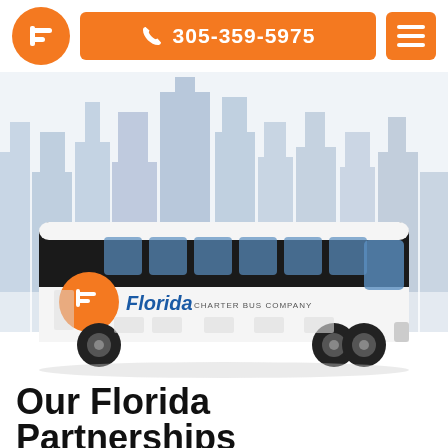[Figure (logo): Florida Charter Bus Company orange circle logo with stylized F letter in white]
305-359-5975
[Figure (screenshot): Florida Charter Bus Company website header with logo, phone number 305-359-5975, and hamburger menu button on orange background]
[Figure (photo): White and black charter bus with Florida Charter Bus Company branding including orange circle logo, parked in front of a light blue city skyline illustration]
Our Florida Partnerships